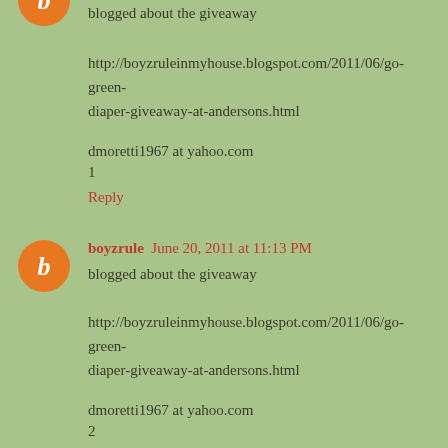[Figure (other): Partial orange circular avatar icon with white letter b, cropped at top of page]
blogged about the giveaway
http://boyzruleinmyhouse.blogspot.com/2011/06/go-green-diaper-giveaway-at-andersons.html
dmoretti1967 at yahoo.com
1
Reply
[Figure (other): Orange circular avatar icon with white letter b]
boyzrule  June 20, 2011 at 11:13 PM
blogged about the giveaway
http://boyzruleinmyhouse.blogspot.com/2011/06/go-green-diaper-giveaway-at-andersons.html
dmoretti1967 at yahoo.com
2
Reply